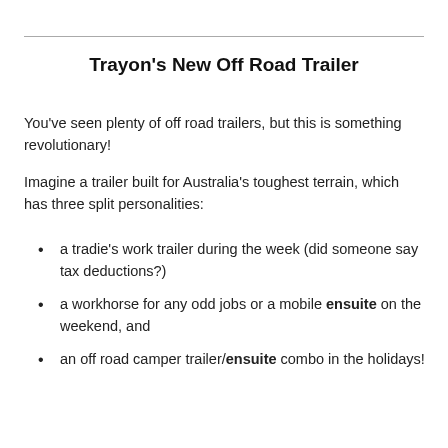Trayon's New Off Road Trailer
You've seen plenty of off road trailers, but this is something revolutionary!
Imagine a trailer built for Australia's toughest terrain, which has three split personalities:
a tradie's work trailer during the week (did someone say tax deductions?)
a workhorse for any odd jobs or a mobile ensuite on the weekend, and
an off road camper trailer/ensuite combo in the holidays!